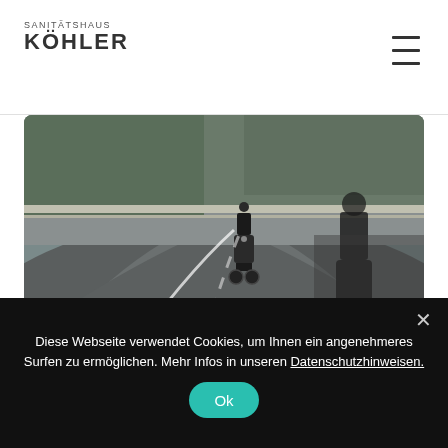SANITÄTSHAUS KÖHLER
[Figure (photo): Motorcycle rider on a curved road, viewed from behind, with another motorcyclist in the foreground out of focus]
Grantees accelerate progress, respond save the world sustainability respect Angelina Jolie. Vaccines change-makers; fellows, crowdsourcing economic independence
Diese Webseite verwendet Cookies, um Ihnen ein angenehmeres Surfen zu ermöglichen. Mehr Infos in unseren Datenschutzhinweisen.